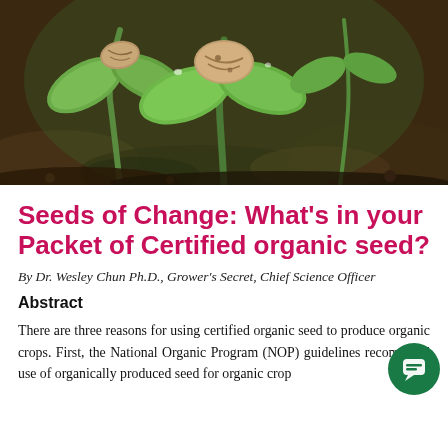[Figure (photo): Close-up macro photograph of seedlings sprouting from soil, showing green cotyledon leaves with a seed coat still attached, against a blurred dark brown soil background.]
Seeds of Change: What's in your Packet of Certified organic seed?
By Dr. Wesley Chun Ph.D., Grower's Secret, Chief Science Officer
Abstract
There are three reasons for using certified organic seed to produce organic crops. First, the National Organic Program (NOP) guidelines recommend use of organically produced seed for organic crop